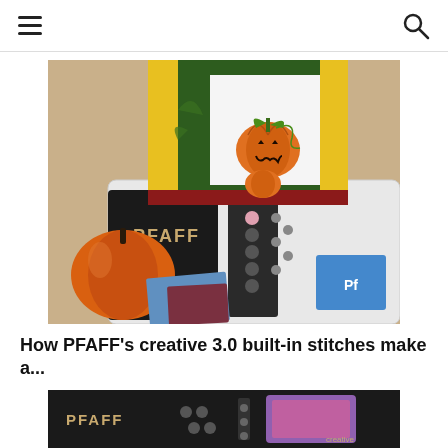hamburger menu and search icon
[Figure (photo): A PFAFF sewing machine on a table with a Halloween-themed tote bag featuring an embroidered jack-o-lantern pumpkin design, displayed upright on the machine. An orange pumpkin and various items are visible in the foreground.]
How PFAFF's creative 3.0 built-in stitches make a...
[Figure (photo): Close-up of a PFAFF creative sewing machine control panel showing buttons and a touchscreen display with purple/pink content visible.]